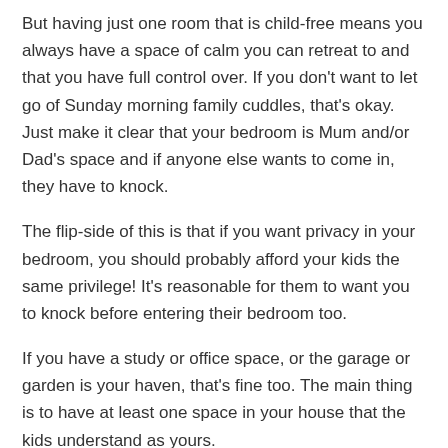But having just one room that is child-free means you always have a space of calm you can retreat to and that you have full control over. If you don't want to let go of Sunday morning family cuddles, that's okay. Just make it clear that your bedroom is Mum and/or Dad's space and if anyone else wants to come in, they have to knock.
The flip-side of this is that if you want privacy in your bedroom, you should probably afford your kids the same privilege! It's reasonable for them to want you to knock before entering their bedroom too.
If you have a study or office space, or the garage or garden is your haven, that's fine too. The main thing is to have at least one space in your house that the kids understand as yours.
Do A Marie Kondo
No matter how many scented candles you light, you cannot have a peaceful home if it's overflowing with clutter. Of course, if you have a large family, a life of minimalism is probably not on